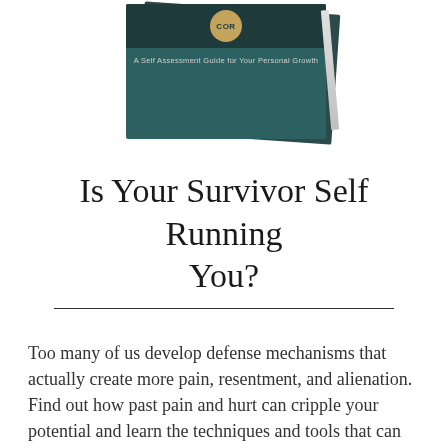[Figure (illustration): Book cover image showing a teal/dark green book titled with a COR badge and subtitle 'A Self Assessment Guide for Your Personal Growth', with a pen beside it]
Is Your Survivor Self Running You?
Too many of us develop defense mechanisms that actually create more pain, resentment, and alienation.  Find out how past pain and hurt can cripple your potential and learn the techniques and tools that can help to alleviate this suffering.